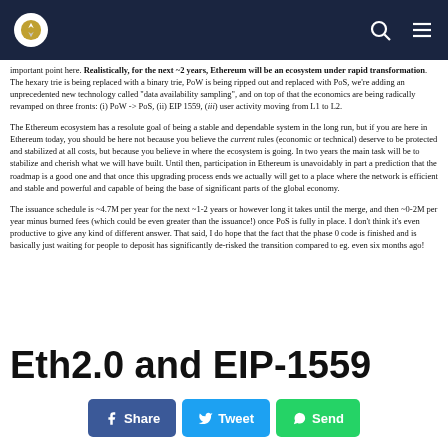[Navigation bar with logo, search, and menu icons]
important point here. Realistically, for the next ~2 years, Ethereum will be an ecosystem under rapid transformation. The hexary trie is being replaced with a binary trie, PoW is being ripped out and replaced with PoS, we're adding an unprecedented new technology called "data availability sampling", and on top of that the economics are being radically revamped on three fronts: (i) PoW -> PoS, (ii) EIP 1559, (iii) user activity moving from L1 to L2.
The Ethereum ecosystem has a resolute goal of being a stable and dependable system in the long run, but if you are here in Ethereum today, you should be here not because you believe the current rules (economic or technical) deserve to be protected and stabilized at all costs, but because you believe in where the ecosystem is going. In two years the main task will be to stabilize and cherish what we will have built. Until then, participation in Ethereum is unavoidably in part a prediction that the roadmap is a good one and that once this upgrading process ends we actually will get to a place where the network is efficient and stable and powerful and capable of being the base of significant parts of the global economy.
The issuance schedule is ~4.7M per year for the next ~1-2 years or however long it takes until the merge, and then ~0-2M per year minus burned fees (which could be even greater than the issuance!) once PoS is fully in place. I don't think it's even productive to give any kind of different answer. That said, I do hope that the fact that the phase 0 code is finished and is basically just waiting for people to deposit has significantly de-risked the transition compared to eg. even six months ago!
Eth2.0 and EIP-1559
Share  Tweet  Send